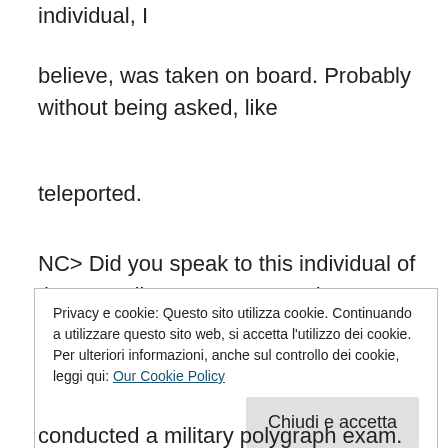individual, I
believe, was taken on board. Probably without being asked, like
teleported.
NC> Did you speak to this individual of the Canadian government, about
his…
Privacy e cookie: Questo sito utilizza cookie. Continuando a utilizzare questo sito web, si accetta l'utilizzo dei cookie.
Per ulteriori informazioni, anche sul controllo dei cookie, leggi qui: Our Cookie Policy
Chiudi e accetta
conducted a military polygraph exam.